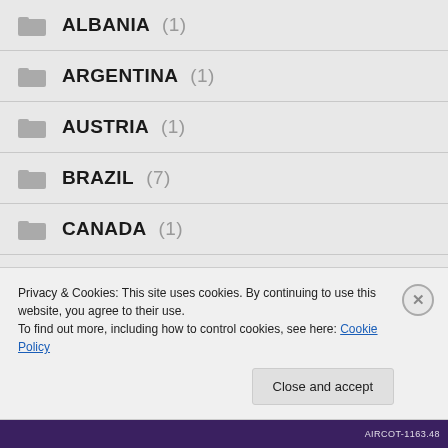ALBANIA (1)
ARGENTINA (1)
AUSTRIA (1)
BRAZIL (7)
CANADA (1)
CAYMAN ISLANDS (3)
CHINA (1)
Privacy & Cookies: This site uses cookies. By continuing to use this website, you agree to their use. To find out more, including how to control cookies, see here: Cookie Policy
AIRCOT-1163.48